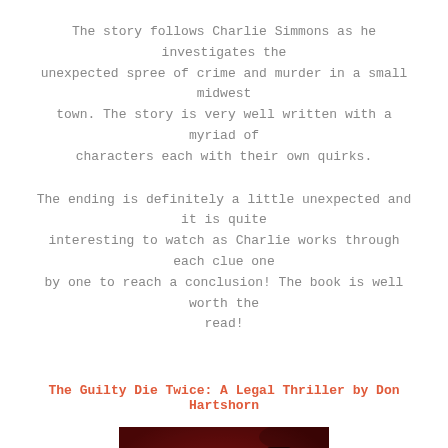The story follows Charlie Simmons as he investigates the unexpected spree of crime and murder in a small midwest town. The story is very well written with a myriad of characters each with their own quirks.
The ending is definitely a little unexpected and it is quite interesting to watch as Charlie works through each clue one by one to reach a conclusion! The book is well worth the read!
The Guilty Die Twice: A Legal Thriller by Don Hartshorn
[Figure (photo): Book cover of 'The Guilty Die Twice' showing large white text 'THE GUILTY' on a dark red/crimson background with a shadowy figure wearing a hat]